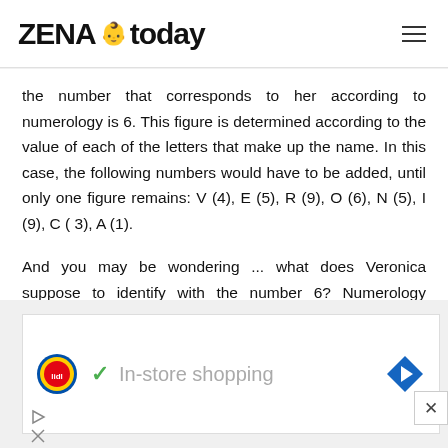ZENA today
the number that corresponds to her according to numerology is 6. This figure is determined according to the value of each of the letters that make up the name. In this case, the following numbers would have to be added, until only one figure remains: V (4), E (5), R (9), O (6), N (5), I (9), C ( 3), A (1).
And you may be wondering ... what does Veronica suppose to identify with the number 6? Numerology explains that
[Figure (screenshot): Lidl advertisement banner showing logo, checkmark, and 'In-store shopping' text with navigation arrow icon]